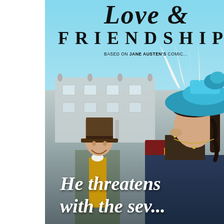[Figure (photo): Movie poster for 'Love & Friendship', based on Jane Austen's comic novella. Shows period-dressed characters including a woman in a large teal hat with white feathers in the foreground, and a smiling man in a brown top hat behind her. A grand manor house is visible in the background. Sky is light blue. Text overlays include the title and tagline.]
Love &
FRIENDSHIP
BASED ON JANE AUSTEN'S COMIC...
He threatens with the sev...